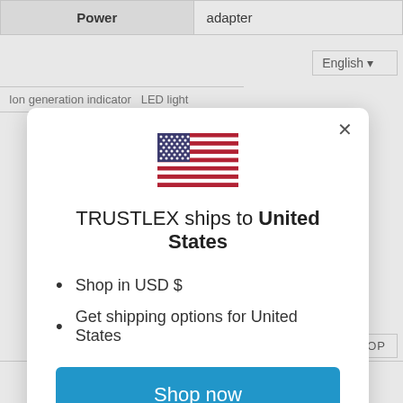| Power |  | adapter |
| --- | --- | --- |
Ion generation indicator  LED light
[Figure (screenshot): Modal popup showing TRUSTLEX ships to United States with US flag, shop options, and Shop now button]
TRUSTLEX ships to United States
Shop in USD $
Get shipping options for United States
Shop now
Change shipping country